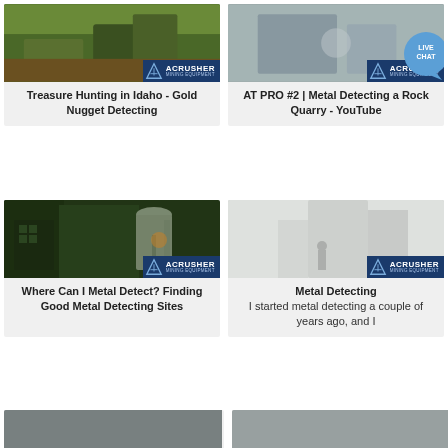[Figure (screenshot): Card grid of mining/metal detecting related content thumbnails with ACRUSHER Mining Equipment branding. Top-left card: outdoor mining site photo with ACRUSHER logo, title 'Treasure Hunting in Idaho - Gold Nugget Detecting'. Top-right card: dusty indoor quarry photo with ACRUSHER logo and LIVE CHAT bubble, title 'AT PRO #2 | Metal Detecting a Rock Quarry - YouTube'. Bottom-left card: green-lit industrial interior photo with ACRUSHER logo, title 'Where Can I Metal Detect? Finding Good Metal Detecting Sites'. Bottom-right card: white dusty industrial interior photo with ACRUSHER logo, title 'Metal Detecting' with text 'I started metal detecting a couple of years ago, and I'. Two more partial cards visible at the very bottom.]